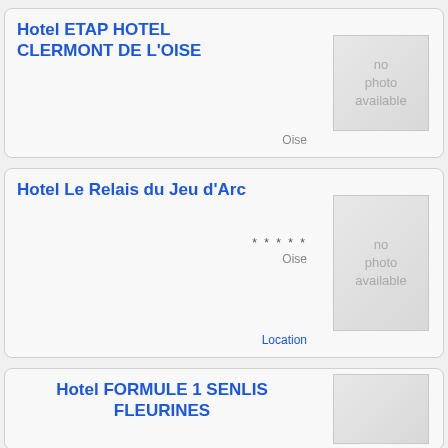Hotel ETAP HOTEL CLERMONT DE L'OISE
Oise
[Figure (photo): no photo available placeholder]
Hotel Le Relais du Jeu d'Arc
***** Oise
Location
[Figure (photo): no photo available placeholder]
Hotel FORMULE 1 SENLIS FLEURINES